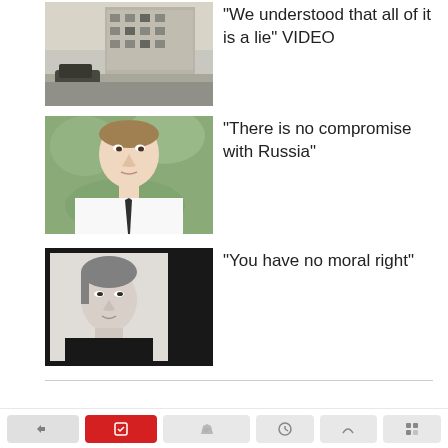[Figure (photo): Destroyed urban area with burned-out car and damaged apartment building]
"We understood that all of it is a lie" VIDEO
[Figure (photo): Portrait of a man in white shirt and dark tie, looking serious]
"There is no compromise with Russia"
[Figure (photo): Black and white portrait of a woman]
"You have no moral right"